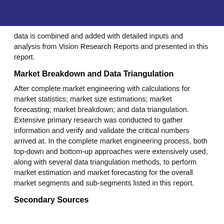data is combined and added with detailed inputs and analysis from Vision Research Reports and presented in this report.
Market Breakdown and Data Triangulation
After complete market engineering with calculations for market statistics; market size estimations; market forecasting; market breakdown; and data triangulation. Extensive primary research was conducted to gather information and verify and validate the critical numbers arrived at. In the complete market engineering process, both top-down and bottom-up approaches were extensively used, along with several data triangulation methods, to perform market estimation and market forecasting for the overall market segments and sub-segments listed in this report.
Secondary Sources